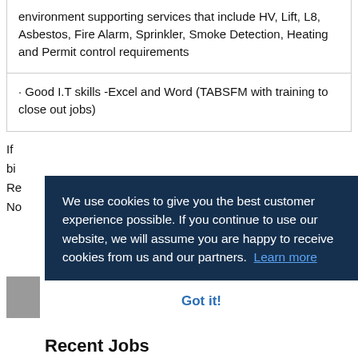environment supporting services that include HV, Lift, L8, Asbestos, Fire Alarm, Sprinkler, Smoke Detection, Heating and Permit control requirements
· Good I.T skills -Excel and Word (TABSFM with training to close out jobs)
If ... bi... Re... No...
[Figure (screenshot): Cookie consent overlay on a dark navy background reading: 'We use cookies to give you the best customer experience possible. If you continue to use our website, we will assume you are happy to receive cookies from us and our partners. Learn more' with a 'Got it!' button below.]
Recent Jobs